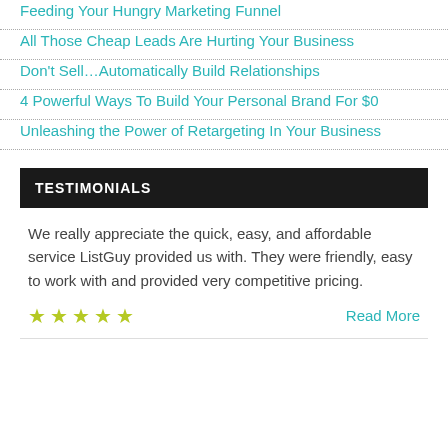Feeding Your Hungry Marketing Funnel
All Those Cheap Leads Are Hurting Your Business
Don't Sell…Automatically Build Relationships
4 Powerful Ways To Build Your Personal Brand For $0
Unleashing the Power of Retargeting In Your Business
TESTIMONIALS
We really appreciate the quick, easy, and affordable service ListGuy provided us with. They were friendly, easy to work with and provided very competitive pricing.
★★★★★  Read More